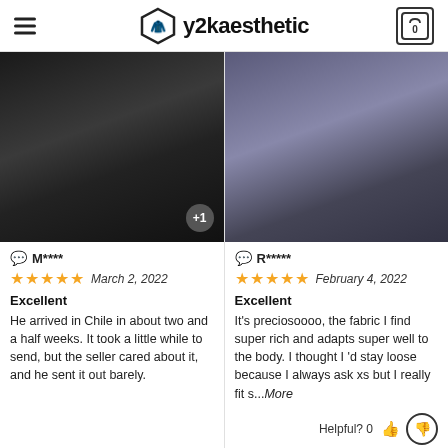y2kaesthetic — navigation header with hamburger menu and cart (0)
[Figure (photo): Person wearing black dress with thigh-high stockings, review photo with +1 badge]
M**** — March 2, 2022 — 5 stars — Excellent — He arrived in Chile in about two and a half weeks. It took a little while to send, but the seller cared about it, and he sent it out barely.
[Figure (photo): Person wearing dark jeans, review photo]
R***** — February 4, 2022 — 5 stars — Excellent — It's preciosoooo, the fabric I find super rich and adapts super well to the body. I thought I'd stay loose because I always ask xs but I really fit s...More
Helpful? 0